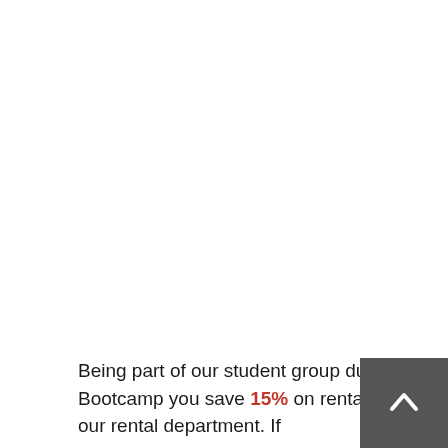Being part of our student group during the Bootcamp you save 15% on rental fees from our rental department. If
[Figure (other): Back to top button — dark grey square with a white upward-pointing chevron arrow]